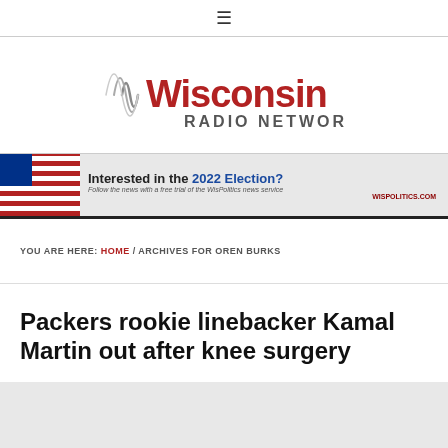≡
[Figure (logo): Wisconsin Radio Network logo with sound wave graphic and red/gray text]
[Figure (infographic): Banner ad: Interested in the 2022 Election? Follow the news with a free trial of the WisPolitics news service. WisPolitics.com]
YOU ARE HERE: HOME / ARCHIVES FOR OREN BURKS
Packers rookie linebacker Kamal Martin out after knee surgery